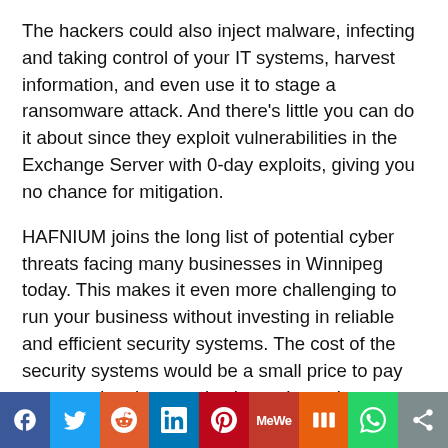The hackers could also inject malware, infecting and taking control of your IT systems, harvest information, and even use it to stage a ransomware attack. And there's little you can do it about since they exploit vulnerabilities in the Exchange Server with 0-day exploits, giving you no chance for mitigation.
HAFNIUM joins the long list of potential cyber threats facing many businesses in Winnipeg today. This makes it even more challenging to run your business without investing in reliable and efficient security systems. The cost of the security systems would be a small price to pay compared to the massive harm these threats may cause to your business.
[Figure (infographic): Social media sharing bar with icons for Facebook, Twitter, Reddit, LinkedIn, Pinterest, MeWe, Mix, WhatsApp, and a share button]